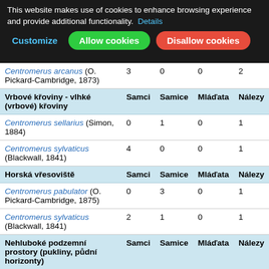This website makes use of cookies to enhance browsing experience and provide additional functionality. Details
Customize | Allow cookies | Disallow cookies
|  | Samci | Samice | Mláďata | Nálezy |
| --- | --- | --- | --- | --- |
| Centromerus arcanus (O. Pickard-Cambridge, 1873) | 3 | 0 | 0 | 2 |
| Vrbové křoviny - vlhké (vrbové) křoviny — header | Samci | Samice | Mláďata | Nálezy |
| Centromerus sellarius (Simon, 1884) | 0 | 1 | 0 | 1 |
| Centromerus sylvaticus (Blackwall, 1841) | 4 | 0 | 0 | 1 |
| Horská vřesoviště — header | Samci | Samice | Mláďata | Nálezy |
| Centromerus pabulator (O. Pickard-Cambridge, 1875) | 0 | 3 | 0 | 1 |
| Centromerus sylvaticus (Blackwall, 1841) | 2 | 1 | 0 | 1 |
| Nehluboké podzemní prostory (pukliny, půdní horizonty) — header | Samci | Samice | Mláďata | Nálezy |